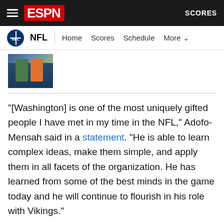ESPN — NFL | Home Scores Schedule More | SCORES
[Figure (photo): Small thumbnail photo of NFL players, partially cropped at top]
"[Washington] is one of the most uniquely gifted people I have met in my time in the NFL," Adofo-Mensah said in a statement. "He is able to learn complex ideas, make them simple, and apply them in all facets of the organization. He has learned from some of the best minds in the game today and he will continue to flourish in his role with Vikings."
Adofo-Mensah, who has bachelor's and master's degrees in economics, started his career as a commodities trader before joining the 49ers in 2013. He made a league-high six trades during the 2022 NFL draft, including two with division opponents, an early sign of the analytics process he is